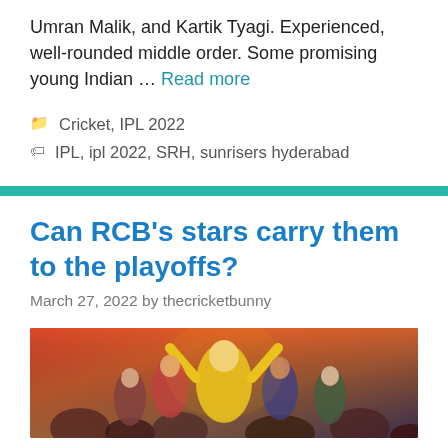Umran Malik, and Kartik Tyagi. Experienced, well-rounded middle order. Some promising young Indian … Read more
Cricket, IPL 2022
IPL, ipl 2022, SRH, sunrisers hyderabad
Can RCB's stars carry them to the playoffs?
March 27, 2022 by thecricketbunny
[Figure (photo): Cricket fans celebrating, with a player in a yellow jersey cheering with arms raised amid a crowd]